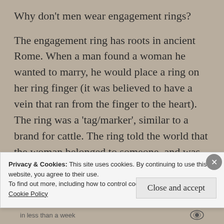Why don’t men wear engagement rings?
The engagement ring has roots in ancient Rome. When a man found a woman he wanted to marry, he would place a ring on her ring finger (it was believed to have a vein that ran from the finger to the heart). The ring was a ‘tag/marker’, similar to a brand for cattle. The ring told the world that the woman belonged to someone, and was “off the market”. The woman was ‘owned’ by her
Privacy & Cookies: This site uses cookies. By continuing to use this website, you agree to their use.
To find out more, including how to control cookies, see here:
Cookie Policy
in less than a week